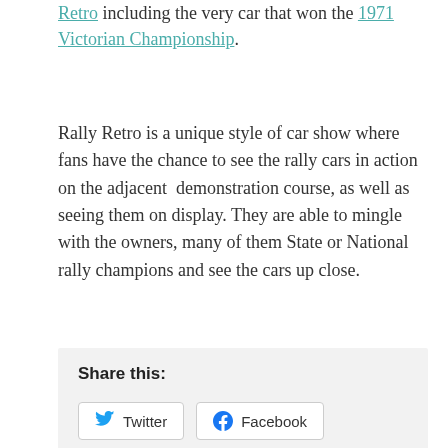Retro including the very car that won the 1971 Victorian Championship.
Rally Retro is a unique style of car show where fans have the chance to see the rally cars in action on the adjacent demonstration course, as well as seeing them on display. They are able to mingle with the owners, many of them State or National rally champions and see the cars up close.
Share this:
Twitter  Facebook
[Figure (other): Like button and two avatar thumbnails (a green snowflake-style avatar and a yellow thumbnail with a person photo)]